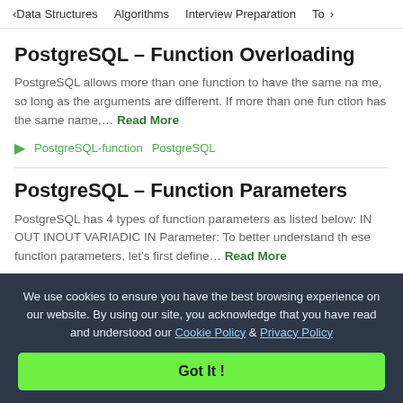< Data Structures   Algorithms   Interview Preparation   To>
PostgreSQL – Function Overloading
PostgreSQL allows more than one function to have the same name, so long as the arguments are different. If more than one function has the same name,… Read More
PostgreSQL-function   PostgreSQL
PostgreSQL – Function Parameters
PostgreSQL has 4 types of function parameters as listed below: IN OUT INOUT VARIADIC IN Parameter: To better understand these function parameters, let's first define… Read More
We use cookies to ensure you have the best browsing experience on our website. By using our site, you acknowledge that you have read and understood our Cookie Policy & Privacy Policy
Got It !